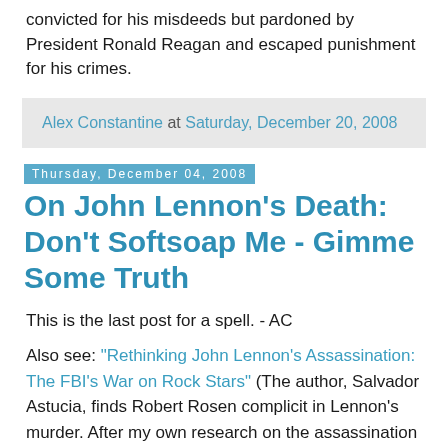convicted for his misdeeds but pardoned by President Ronald Reagan and escaped punishment for his crimes.
Alex Constantine at Saturday, December 20, 2008
Thursday, December 04, 2008
On John Lennon's Death: Don't Softsoap Me - Gimme Some Truth
This is the last post for a spell. - AC
Also see: "Rethinking John Lennon's Assassination: The FBI's War on Rock Stars" (The author, Salvador Astucia, finds Robert Rosen complicit in Lennon's murder. After my own research on the assassination was published in The Covert War Against Rock (2000), I was viciously attacked by Mr. Rosen in a music newsletter - he disparaged my sanity, laid on the ridicule, and claimed falsely that my allegations had been "disproven long ago." Rosen's blatant dishonesty and evident anxiety over my research aroused my